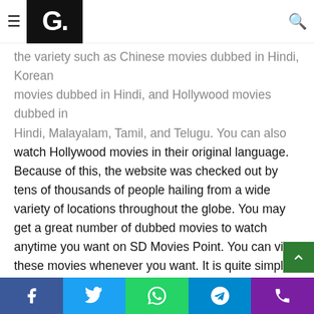G. [logo/navigation bar]
the variety such as Chinese movies dubbed in Hindi, Korean movies dubbed in Hindi, and Hollywood movies dubbed in Hindi, Malayalam, Tamil, and Telugu. You can also watch Hollywood movies in their original language. Because of this, the website was checked out by tens of thousands of people hailing from a wide variety of locations throughout the globe. You may get a great number of dubbed movies to watch anytime you want on SD Movies Point. You can view these movies whenever you want. It is quite simple for users to download his movies in the language of their choice as well.
How to Download Movies from the sdmoviepoint Website
-Discovered the website sdmoviespoint.cc or any other website with the same domain in that it continues...
Facebook | Twitter | WhatsApp | Telegram | Phone